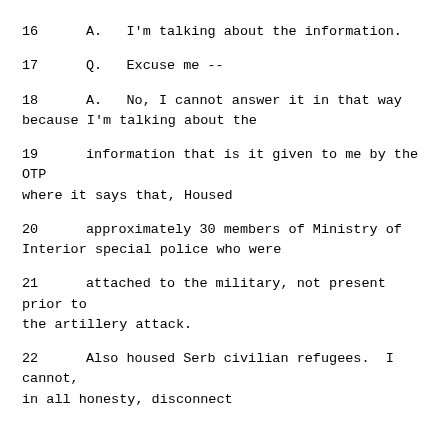16    A.   I'm talking about the information.
17    Q.   Excuse me --
18    A.   No, I cannot answer it in that way because I'm talking about the
19         information that is it given to me by the OTP where it says that, Housed
20         approximately 30 members of Ministry of Interior special police who were
21         attached to the military, not present prior to the artillery attack.
22    Also housed Serb civilian refugees.  I cannot, in all honesty, disconnect